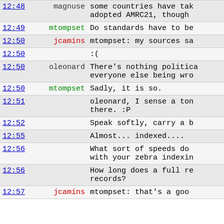| time | user | message |
| --- | --- | --- |
| 12:48 | magnuse | some countries have take adopted AMRC21, though |
| 12:49 | mtompset | Do standards have to be |
| 12:50 | jcamins | mtompset: my sources sa |
| 12:50 |  | :( |
| 12:50 | oleonard | There's nothing politica everyone else being wro |
| 12:50 | mtompset | Sadly, it is so. |
| 12:51 |  | oleonard, I sense a ton there. :P |
| 12:52 |  | Speak softly, carry a b |
| 12:55 |  | Almost... indexed.... |
| 12:56 |  | What sort of speeds do with your zebra indexin |
| 12:56 |  | How long does a full re records? |
| 12:57 | jcamins | mtompset: that's a goo |